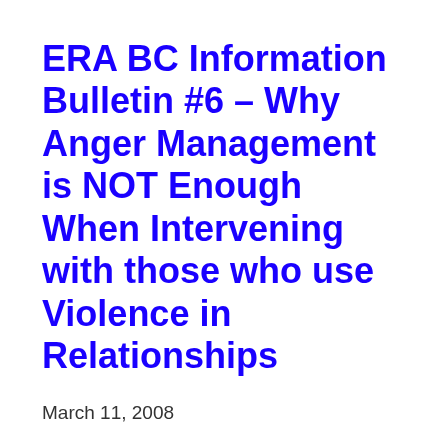ERA BC Information Bulletin #6 – Why Anger Management is NOT Enough When Intervening with those who use Violence in Relationships
March 11, 2008
Resource materials originally developed and distributed by the Ending Relationship Abuse Society of BC (ERA BC) dealing with relationship violence treatment programs, including assaultive men's treatment. Due to the dissolution of ERA, their valuable resource material